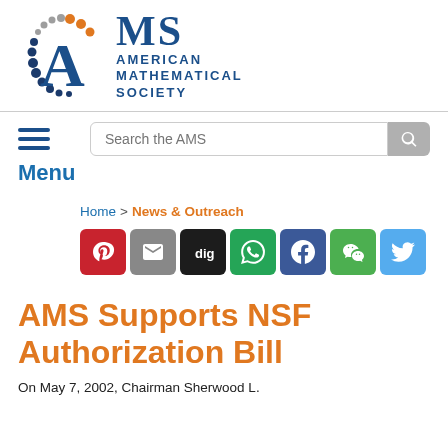[Figure (logo): American Mathematical Society logo with AMS text and arc of dots]
[Figure (screenshot): Search bar with text 'Search the AMS' and search button]
Menu
Home > News & Outreach
[Figure (infographic): Social sharing buttons: Pinterest, Email, Digg, WhatsApp, Facebook, WeChat, Twitter]
AMS Supports NSF Authorization Bill
On May 7, 2002, Chairman Sherwood L.